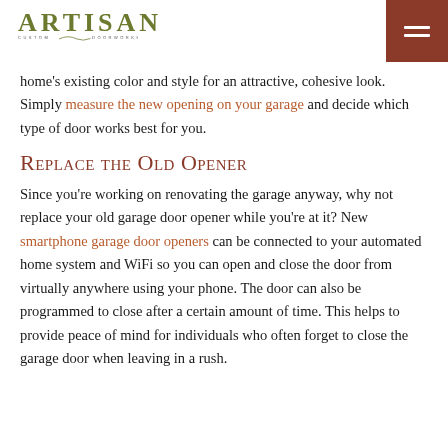ARTISAN CUSTOM DOORWORKS
home’s existing color and style for an attractive, cohesive look. Simply measure the new opening on your garage and decide which type of door works best for you.
Replace the Old Opener
Since you’re working on renovating the garage anyway, why not replace your old garage door opener while you’re at it? New smartphone garage door openers can be connected to your automated home system and WiFi so you can open and close the door from virtually anywhere using your phone. The door can also be programmed to close after a certain amount of time. This helps to provide peace of mind for individuals who often forget to close the garage door when leaving in a rush.